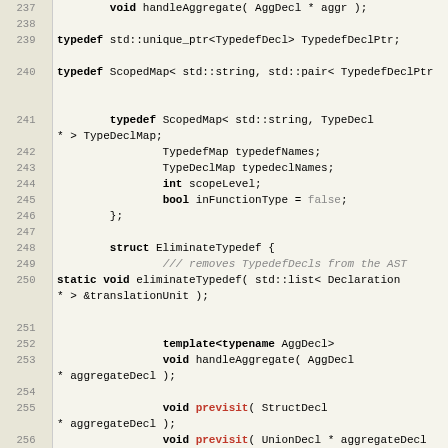[Figure (screenshot): Source code listing (C++) with line numbers 237-261, showing typedef declarations, struct EliminateTypedef, static void eliminateTypedef, template handleAggregate, previsit methods, and struct VerifyCtorDtorAssign]